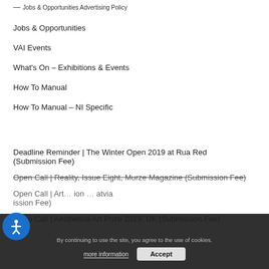— Jobs & Opportunities Advertising Policy
Jobs & Opportunities
VAI Events
What's On – Exhibitions & Events
How To Manual
How To Manual – NI Specific
Deadline Reminder | The Winter Open 2019 at Rua Red (Submission Fee)
Open Call | Reality, Issue Eight, Murze Magazine (Submission Fee)
Open Call | Art … ion … atvia … ission Fee)
Open Call | Aesthetica Art Prize 2019, UK (Submission Fee)
By continuing to use the site, you agree to the use of cookies. more information  Accept